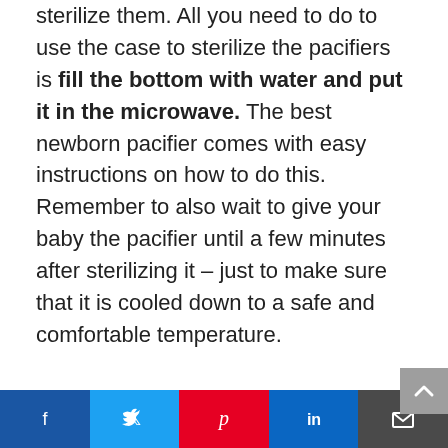sterilize them. All you need to do to use the case to sterilize the pacifiers is fill the bottom with water and put it in the microwave. The best newborn pacifier comes with easy instructions on how to do this. Remember to also wait to give your baby the pacifier until a few minutes after sterilizing it – just to make sure that it is cooled down to a safe and comfortable temperature.
Like the other orthodontic pacifier options, this is not made with a one-piece design. Since there are multiple pieces, there are cracks and crevices